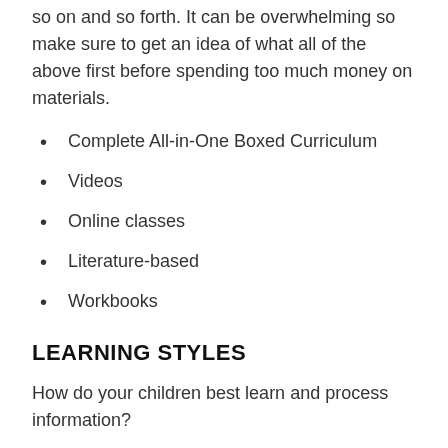so on and so forth. It can be overwhelming so make sure to get an idea of what all of the above first before spending too much money on materials.
Complete All-in-One Boxed Curriculum
Videos
Online classes
Literature-based
Workbooks
LEARNING STYLES
How do your children best learn and process information?
Visual – pictures, graphics